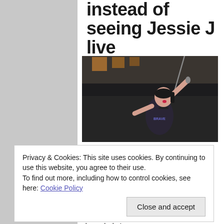instead of seeing Jessie J live
[Figure (photo): Woman performing live on stage, arms raised, holding a microphone, dark clothing, dramatic stage lighting]
Privacy & Cookies: This site uses cookies. By continuing to use this website, you agree to their use.
To find out more, including how to control cookies, see here: Cookie Policy
Close and accept
Mike Howlett first, as he's played bass in Gong for three zillion years. I tried to channel what